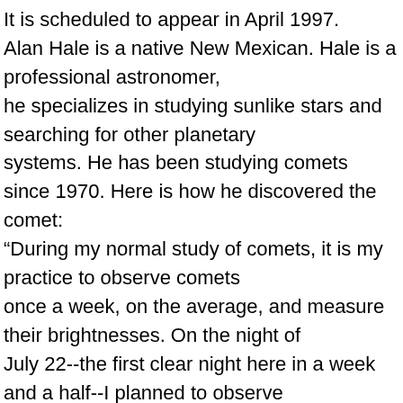It is scheduled to appear in April 1997. Alan Hale is a native New Mexican. Hale is a professional astronomer, he specializes in studying sunlike stars and searching for other planetary systems. He has been studying comets since 1970. Here is how he discovered the comet: “During my normal study of comets, it is my practice to observe comets once a week, on the average, and measure their brightnesses. On the night of July 22--the first clear night here in a week and a half--I planned to observe two comets. I finished with the first one--Periodic Comet Clark--